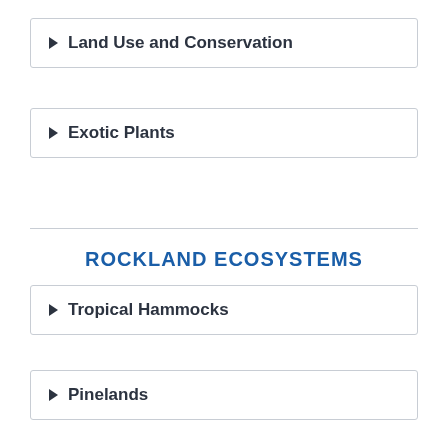Land Use and Conservation
Exotic Plants
ROCKLAND ECOSYSTEMS
Tropical Hammocks
Pinelands